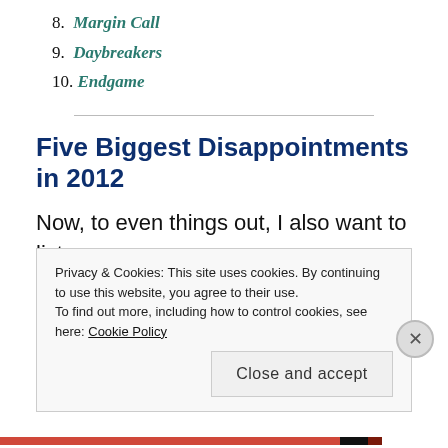8. Margin Call
9. Daybreakers
10. Endgame
Five Biggest Disappointments in 2012
Now, to even things out, I also want to list
Privacy & Cookies: This site uses cookies. By continuing to use this website, you agree to their use.
To find out more, including how to control cookies, see here: Cookie Policy
Close and accept